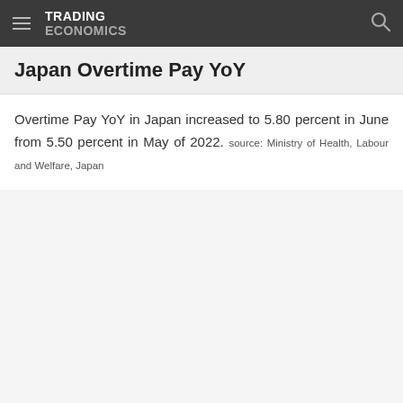TRADING ECONOMICS
Japan Overtime Pay YoY
Overtime Pay YoY in Japan increased to 5.80 percent in June from 5.50 percent in May of 2022. source: Ministry of Health, Labour and Welfare, Japan